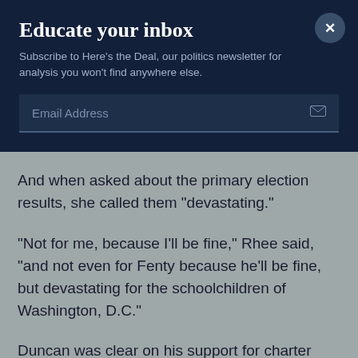Educate your inbox
Subscribe to Here's the Deal, our politics newsletter for analysis you won't find anywhere else.
Email Address
And when asked about the primary election results, she called them “devastating.”
“Not for me, because I’ll be fine,” Rhee said, “and not even for Fenty because he’ll be fine, but devastating for the schoolchildren of Washington, D.C.”
Duncan was clear on his support for charter schools, but struck a conciliatory note on